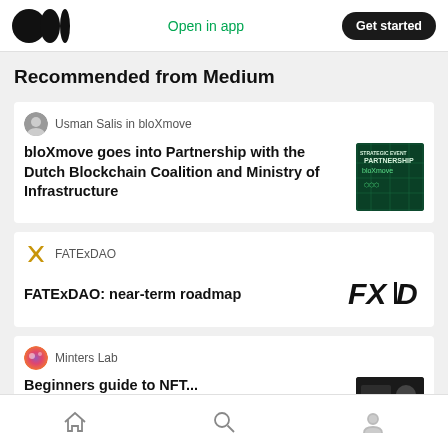Open in app | Get started
Recommended from Medium
Usman Salis in bloXmove
bloXmove goes into Partnership with the Dutch Blockchain Coalition and Ministry of Infrastructure
[Figure (photo): bloXmove partnership announcement thumbnail with green blockchain visual]
FATExDAO
FATExDAO: near-term roadmap
[Figure (logo): FXD logo in black bold italic text]
Minters Lab
[Figure (photo): Minters Lab article thumbnail, dark background]
Home | Search | Profile